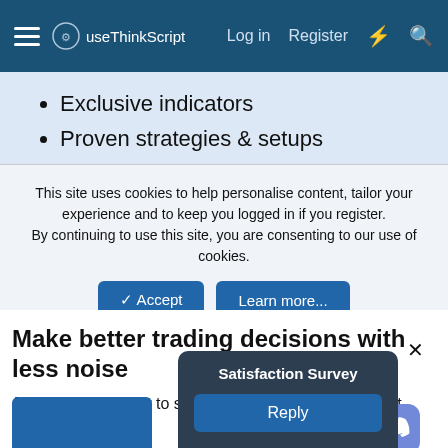useThinkScript  Log in  Register
Exclusive indicators
Proven strategies & setups
Private Discord community
This site uses cookies to help personalise content, tailor your experience and to keep you logged in if you register. By continuing to use this site, you are consenting to our use of cookies.
Make better trading decisions with less noise
Join useThinkScript to stay update to date on the latest indicators, trade strategies, and tips for thinkorswim.
Satisfaction Survey